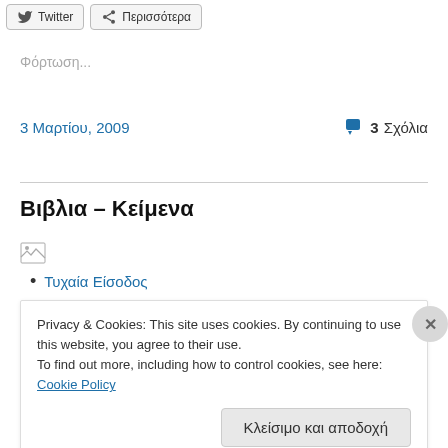[Figure (other): Two share/social buttons: Twitter button with bird icon and a 'Περισσότερα' (More) button with share icon]
Φόρτωση...
3 Μαρτίου, 2009
💬 3 Σχόλια
Βιβλια – Κείμενα
[Figure (other): Broken/loading image placeholder icon]
Τυχαία Είσοδος
Privacy & Cookies: This site uses cookies. By continuing to use this website, you agree to their use.
To find out more, including how to control cookies, see here: Cookie Policy
Κλείσιμο και αποδοχή